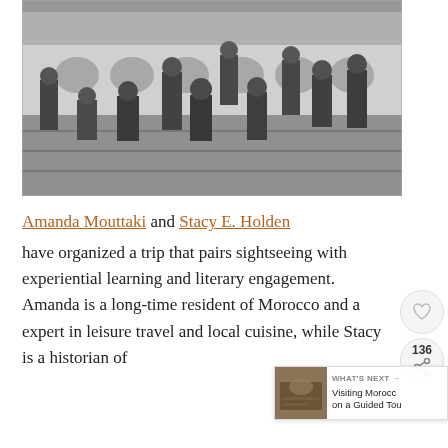[Figure (photo): Black and white historical photograph of a group of people seated and standing in a Moroccan courtyard with arched colonnades. Approximately 12 people in early 20th century dress are posed together.]
Amanda Mouttaki and Stacy E. Holden have organized a trip that pairs sightseeing with experiential learning and literary engagement.  Amanda is a long-time resident of Morocco and a expert in leisure travel and local cuisine, while Stacy is a historian of